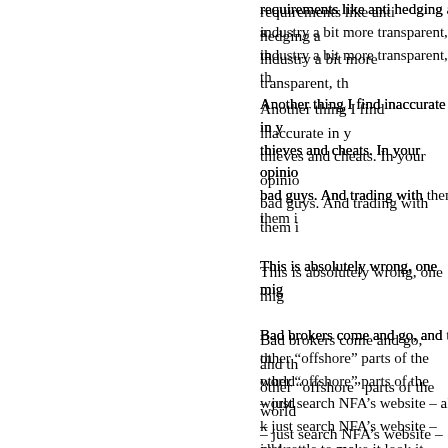requirements like anti hedging and industry a bit more transparent, th
Another thing I find inaccurate in y thieves and cheats. In your opinio bad guys. And trading with them i
This is absolutely wrong, one mig
Bad brokers come and go, and th other “offshore” parts of the world – just search NFA’s website – all just settle to make it look it better.
2. Charles Says:
January 22nd, 2010 at 11:30 pm
I think FB is one of the best finan keeps you writing, then editorializm
As for Michael’s complaint that yo inaccurate. Nothing you have writ you said was that it proved possib chose to move offshore.
Michael’s complaint is also misgu